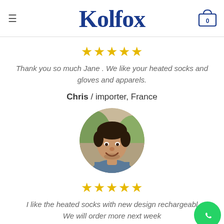Kolfox
★★★★★
Thank you so much Jane . We like your heated socks and gloves and apparels.
Chris / importer, France
[Figure (photo): Circular portrait photo of a smiling young man with short dark hair and light stubble, wearing a denim shirt, outdoors with blurred greenery in the background.]
★★★★★
I like the heated socks with new design rechargeable. We will order more next week